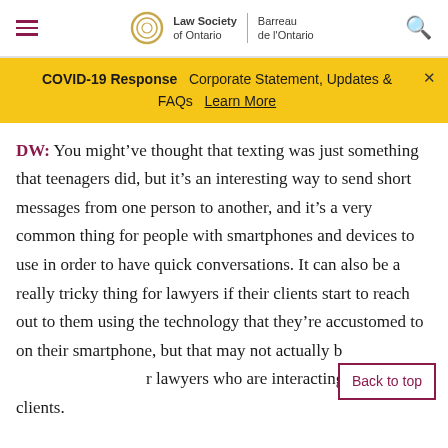Law Society of Ontario | Barreau de l'Ontario
COVID-19 Response  Corporate Statement, Updates & FAQs  Learn More
DW: You might've thought that texting was just something that teenagers did, but it's an interesting way to send short messages from one person to another, and it's a very common thing for people with smartphones and devices to use in order to have quick conversations. It can also be a really tricky thing for lawyers if their clients start to reach out to them using the technology that they're accustomed to on their smartphone, but that may not actually be for lawyers who are interacting with their clients.